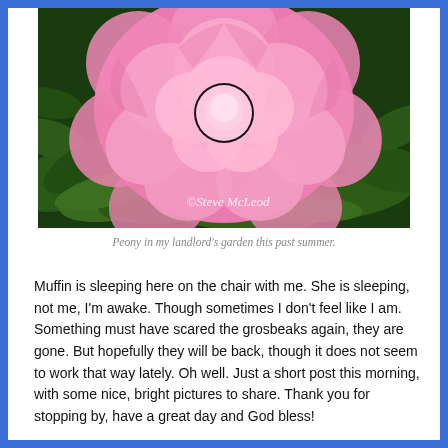[Figure (photo): Close-up photo of a large pink peony flower with green leaves in background. Watermark text reads '©Steve McLeod' in white italic.]
Peony in my landlord's garden this past summer.
Muffin is sleeping here on the chair with me. She is sleeping, not me, I'm awake. Though sometimes I don't feel like I am. Something must have scared the grosbeaks again, they are gone. But hopefully they will be back, though it does not seem to work that way lately. Oh well. Just a short post this morning, with some nice, bright pictures to share. Thank you for stopping by, have a great day and God bless!